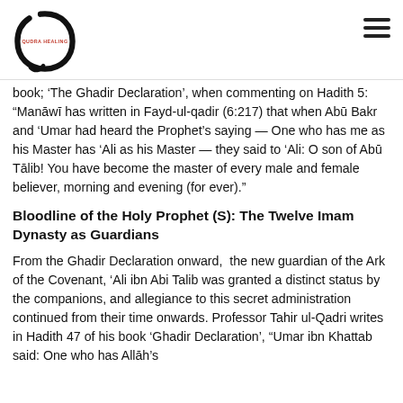QUDRA HEALING logo and hamburger menu
book; ‘The Ghadir Declaration’, when commenting on Hadith 5: “Manāwī has written in Fayd-ul-qadir (6:217) that when Abū Bakr and ‘Umar had heard the Prophet’s saying — One who has me as his Master has ‘Ali as his Master — they said to ‘Ali: O son of Abū Tālib! You have become the master of every male and female believer, morning and evening (for ever).”
Bloodline of the Holy Prophet (S): The Twelve Imam Dynasty as Guardians
From the Ghadir Declaration onward,  the new guardian of the Ark of the Covenant, ‘Ali ibn Abi Talib was granted a distinct status by the companions, and allegiance to this secret administration continued from their time onwards. Professor Tahir ul-Qadri writes in Hadith 47 of his book ‘Ghadir Declaration’, “Umar ibn Khattab said: One who has Allāh’s